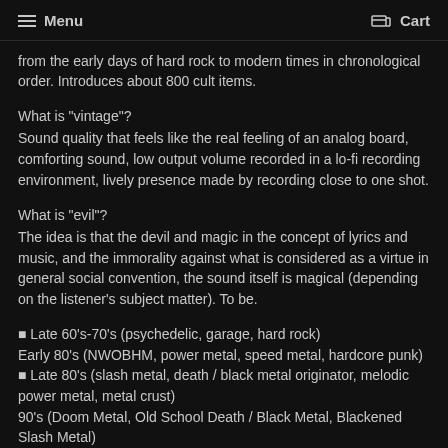Menu  Cart
from the early days of hard rock to modern times in chronological order. Introduces about 800 cult items.
What is "vintage"?
Sound quality that feels like the real feeling of an analog board, comforting sound, low output volume recorded in a lo-fi recording environment, lively presence made by recording close to one shot.
What is "evil"?
The idea is that the devil and magic in the concept of lyrics and music, and the immorality against what is considered as a virtue in general social convention, the sound itself is magical (depending on the listener's subject matter). To be.
■ Late 60's-70's (psychedelic, garage, hard rock)
Early 80's (NWOBHM, power metal, speed metal, hardcore punk)
■ Late 80's (slash metal, death / black metal originator, melodic power metal, metal crust)
90's (Doom Metal, Old School Death / Black Metal, Blackened Slash Metal)